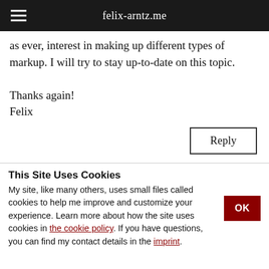felix-arntz.me
as ever, interest in making up different types of markup. I will try to stay up-to-date on this topic.

Thanks again!
Felix
Reply
This Site Uses Cookies
My site, like many others, uses small files called cookies to help me improve and customize your experience. Learn more about how the site uses cookies in the cookie policy. If you have questions, you can find my contact details in the imprint.